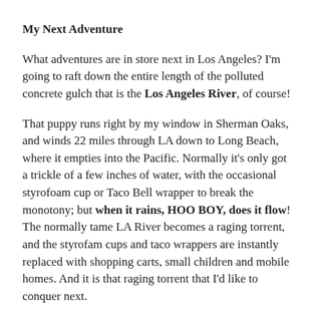My Next Adventure
What adventures are in store next in Los Angeles? I'm going to raft down the entire length of the polluted concrete gulch that is the Los Angeles River, of course!
That puppy runs right by my window in Sherman Oaks, and winds 22 miles through LA down to Long Beach, where it empties into the Pacific. Normally it's only got a trickle of a few inches of water, with the occasional styrofoam cup or Taco Bell wrapper to break the monotony; but when it rains, HOO BOY, does it flow! The normally tame LA River becomes a raging torrent, and the styrofam cups and taco wrappers are instantly replaced with shopping carts, small children and mobile homes. And it is that raging torrent that I'd like to conquer next.
You can view the rest of the photos from my hike in this Flickr